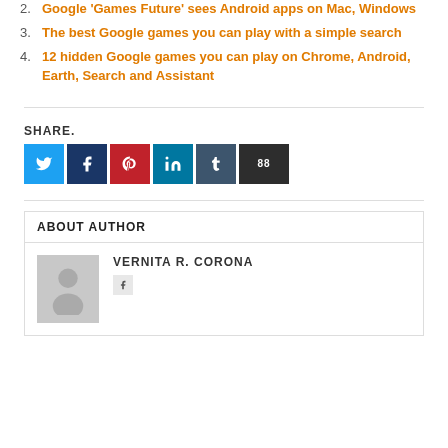2. Google 'Games Future' sees Android apps on Mac, Windows
3. The best Google games you can play with a simple search
4. 12 hidden Google games you can play on Chrome, Android, Earth, Search and Assistant
SHARE.
[Figure (other): Social share buttons: Twitter (light blue), Facebook (dark blue), Pinterest (red), LinkedIn (teal), Tumblr (dark slate), and a counter button (dark)]
ABOUT AUTHOR
VERNITA R. CORONA